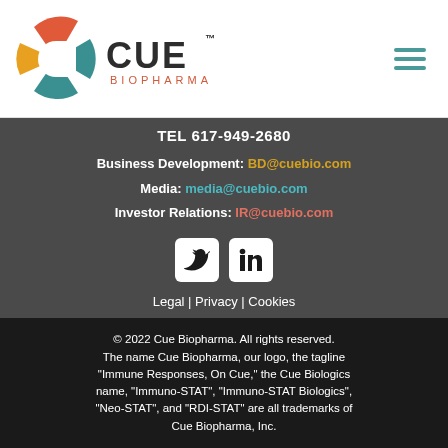[Figure (logo): Cue Biopharma logo with colorful C circle and CUE BIOPHARMA text, plus hamburger menu icon on the right]
TEL 617-949-2680
Business Development: BD@cuebio.com
Media: media@cuebio.com
Investor Relations: IR@cuebio.com
[Figure (infographic): Twitter and LinkedIn social media icons in white rounded square buttons]
Legal | Privacy | Cookies
© 2022 Cue Biopharma. All rights reserved. The name Cue Biopharma, our logo, the tagline "Immune Responses, On Cue," the Cue Biologics name, "Immuno-STAT", "Immuno-STAT Biologics", "Neo-STAT", and "RDI-STAT" are all trademarks of Cue Biopharma, Inc.